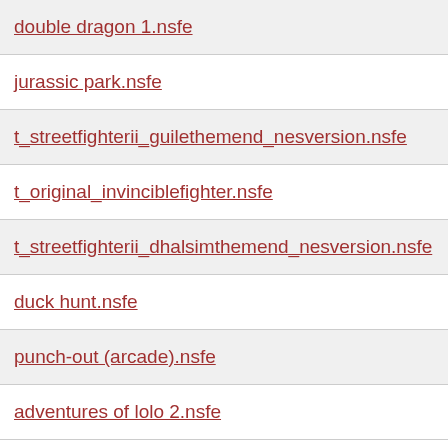double dragon 1.nsfe   17
jurassic park.nsfe   24
t_streetfighterii_guilethemend_nesversion.nsfe   24
t_original_invinciblefighter.nsfe   90
t_streetfighterii_dhalsimthemend_nesversion.nsfe   24
duck hunt.nsfe   17
punch-out (arcade).nsfe   33
adventures of lolo 2.nsfe   1